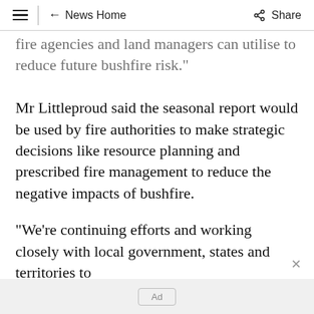≡  ← News Home  Share
...fire agencies and land managers can utilise to reduce future bushfire risk."
Mr Littleproud said the seasonal report would be used by fire authorities to make strategic decisions like resource planning and prescribed fire management to reduce the negative impacts of bushfire.
"We're continuing efforts and working closely with local government, states and territories to
Ad